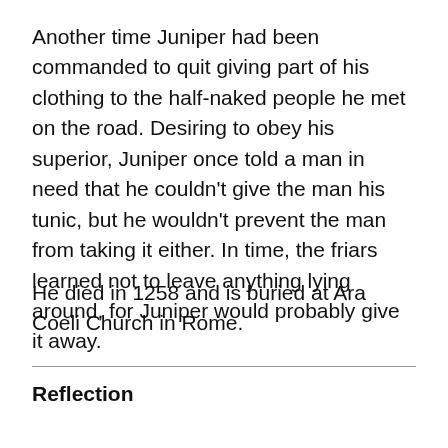Another time Juniper had been commanded to quit giving part of his clothing to the half-naked people he met on the road. Desiring to obey his superior, Juniper once told a man in need that he couldn't give the man his tunic, but he wouldn't prevent the man from taking it either. In time, the friars learned not to leave anything lying around, for Juniper would probably give it away.
He died in 1258 and is buried at Ara Coeli Church in Rome.
Reflection